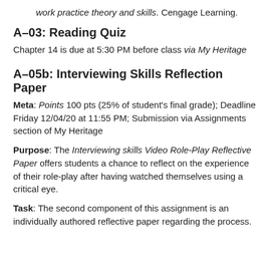work practice theory and skills. Cengage Learning.
A–03: Reading Quiz
Chapter 14 is due at 5:30 PM before class via My Heritage
A–05b: Interviewing Skills Reflection Paper
Meta: Points 100 pts (25% of student's final grade); Deadline Friday 12/04/20 at 11:55 PM; Submission via Assignments section of My Heritage
Purpose: The Interviewing skills Video Role-Play Reflective Paper offers students a chance to reflect on the experience of their role-play after having watched themselves using a critical eye.
Task: The second component of this assignment is an individually authored reflective paper regarding the process.